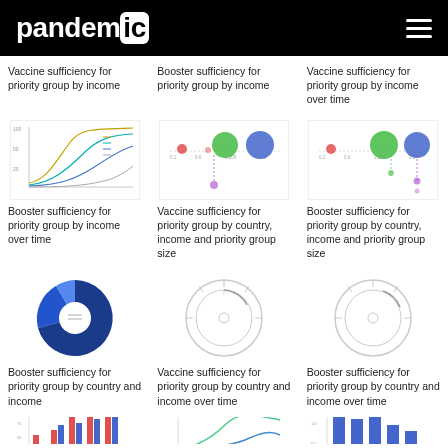pandemic
Vaccine sufficiency for priority group by income
Booster sufficiency for priority group by income
Vaccine sufficiency for priority group by income over time
[Figure (continuous-plot): S-curve / sigmoid line chart showing vaccine sufficiency over time by income group, multiple colored lines on white background with axes]
[Figure (bubble-chart): Horizontal bubble chart showing booster sufficiency for priority group by income. Red, green, and blue bubbles of varying sizes along horizontal axis on white background]
[Figure (bubble-chart): Horizontal bubble chart showing vaccine sufficiency for priority group by income over time. Red, green, and blue bubbles on white background with dotted lines]
Booster sufficiency for priority group by income over time
Vaccine sufficiency for priority group by country, income and priority group size
Booster sufficiency for priority group by country, income and priority group size
[Figure (donut-chart): Circular donut/pie chart filled with blue and dark blue segments, shown prominently]
[Figure (donut-chart): Light gray circular ring / donut chart with minimal inner circle on white background]
[Figure (donut-chart): Light gray circular ring / donut chart, similar minimal style on white background]
Booster sufficiency for priority group by country and income
Vaccine sufficiency for priority group by country and income over time
Booster sufficiency for priority group by country and income over time
[Figure (bar-chart): Grouped bar chart with red and blue bars, partial view at bottom of page]
[Figure (line-chart): Line chart with curved lines, partial view at bottom of page]
[Figure (bar-chart): Bar chart with blue bars of varying heights, partial view at bottom of page]